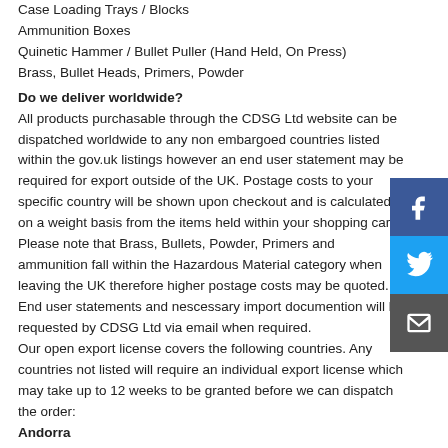Case Loading Trays / Blocks
Ammunition Boxes
Quinetic Hammer / Bullet Puller (Hand Held, On Press)
Brass, Bullet Heads, Primers, Powder
Do we deliver worldwide?
All products purchasable through the CDSG Ltd website can be dispatched worldwide to any non embargoed countries listed within the gov.uk listings however an end user statement may be required for export outside of the UK. Postage costs to your specific country will be shown upon checkout and is calculated on a weight basis from the items held within your shopping cart. Please note that Brass, Bullets, Powder, Primers and ammunition fall within the Hazardous Material category when leaving the UK therefore higher postage costs may be quoted. End user statements and nescessary import documention will be requested by CDSG Ltd via email when required.
Our open export license covers the following countries. Any countries not listed will require an individual export license which may take up to 12 weeks to be granted before we can dispatch the order:
Andorra
Australia
Austria
Belgium
Canada
Continental Shelf Belgian Sector
Continental Shelf Danish Sector